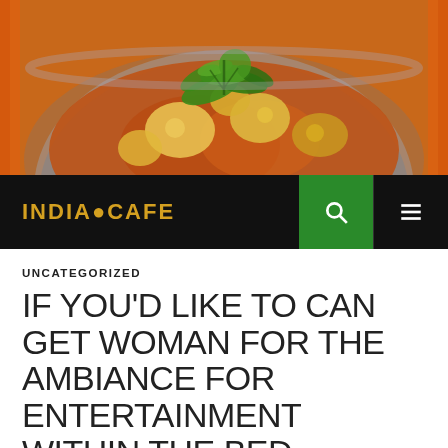[Figure (photo): A close-up photo of a bowl of Indian curry dish with potatoes, cauliflower, and garnished with fresh cilantro/coriander leaves, on an orange background.]
INDIA•CAFE
UNCATEGORIZED
IF YOU'D LIKE TO CAN GET WOMAN FOR THE AMBIANCE FOR ENTERTAINMENT WITHIN THE BED, SEXTING COULD WORK MIRACLES.
SEPTEMBER 12, 2021   ADMIN   LEAVE A COMMENT